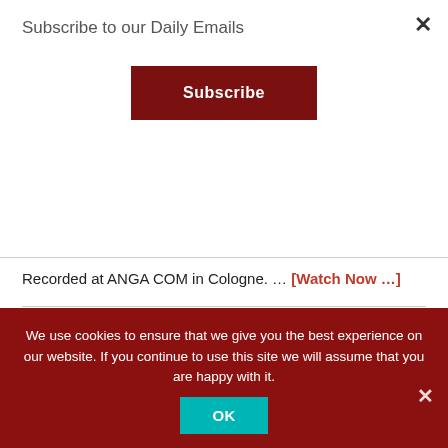Subscribe to our Daily Emails
Subscribe
Recorded at ANGA COM in Cologne. … [Watch Now ...]
[Figure (photo): Two men in conversation at a conference event (ANGA COM), one bald in a suit, one with white hair and glasses, crowd in background]
We use cookies to ensure that we give you the best experience on our website. If you continue to use this site we will assume that you are happy with it.
OK